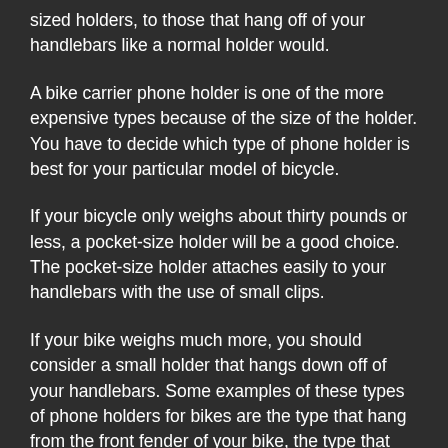sized holders, to those that hang off of your handlebars like a normal holder would.
A bike carrier phone holder is one of the more expensive types because of the size of the holder. You have to decide which type of phone holder is best for your particular model of bicycle.
If your bicycle only weighs about thirty pounds or less, a pocket-size holder will be a good choice. The pocket-size holder attaches easily to your handlebars with the use of small clips.
If your bike weighs much more, you should consider a small holder that hangs down off of your handlebars. Some examples of these types of phone holders for bikes are the type that hang from the front fender of your bike, the type that can be purchased from stationary